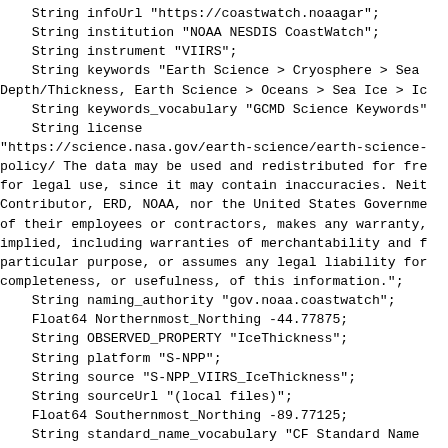String infoUrl "https://coastwatch.noaagar";
    String institution "NOAA NESDIS CoastWatch";
    String instrument "VIIRS";
    String keywords "Earth Science > Cryosphere > Sea Depth/Thickness, Earth Science > Oceans > Sea Ice > Ic
    String keywords_vocabulary "GCMD Science Keywords"
    String license
"https://science.nasa.gov/earth-science/earth-science-policy/ The data may be used and redistributed for fre for legal use, since it may contain inaccuracies. Neit Contributor, ERD, NOAA, nor the United States Governme of their employees or contractors, makes any warranty, implied, including warranties of merchantability and f particular purpose, or assumes any legal liability for completeness, or usefulness, of this information.";
    String naming_authority "gov.noaa.coastwatch";
    Float64 Northernmost_Northing -44.77875;
    String OBSERVED_PROPERTY "IceThickness";
    String platform "S-NPP";
    String source "S-NPP_VIIRS_IceThickness";
    String sourceUrl "(local files)";
    Float64 Southernmost_Northing -89.77125;
    String standard_name_vocabulary "CF Standard Name
    String summary "Enterprise Ice Thickness/ Age Prod
    String testOutOfDate "now-2days";
    String time_coverage_end "2022-08-28T00:00:00Z";